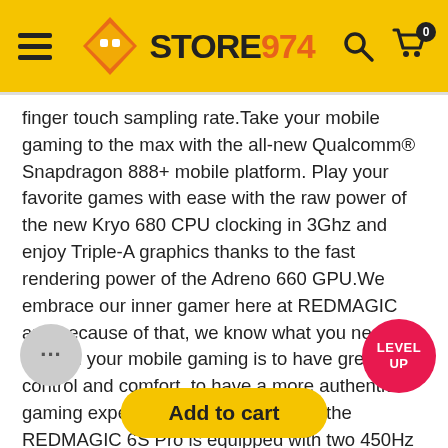STORE 974 - header navigation
finger touch sampling rate.Take your mobile gaming to the max with the all-new Qualcomm® Snapdragon 888+ mobile platform. Play your favorite games with ease with the raw power of the new Kryo 680 CPU clocking in 3Ghz and enjoy Triple-A graphics thanks to the fast rendering power of the Adreno 660 GPU.We embrace our inner gamer here at REDMAGIC and because of that, we know what you need most in your mobile gaming is to have greater control and comfort, to have a more authentic gaming experience. To give you this, the REDMAGIC 6S Pro is equipped with two 450Hz touchpad shoulder triggers that can be mapped actions you need in your games.With a m... Ah battery, you can game it up uninterru...
Add to cart